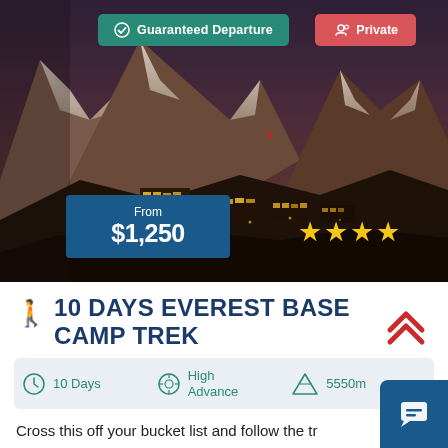[Figure (photo): Aerial night photo of a Himalayan mountain village (likely Namche Bazaar) with snow-capped peaks in the background, illuminated buildings in the foreground, and a twilight sky.]
✓ Guaranteed Departure
🔔 Private
From $1,250
★★★★
10 DAYS EVEREST BASE CAMP TREK
10 Days
High Advance
5550m
Cross this off your bucket list and follow the tr... Hillary and Sherpa Tenzing to Everest Base Camp. Our